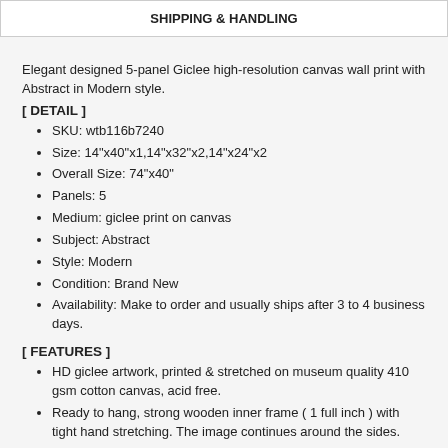SHIPPING & HANDLING
Elegant designed 5-panel Giclee high-resolution canvas wall print with Abstract in Modern style.
[ DETAIL ]
SKU: wtb116b7240
Size: 14"x40"x1,14"x32"x2,14"x24"x2
Overall Size: 74"x40"
Panels: 5
Medium: giclee print on canvas
Subject: Abstract
Style: Modern
Condition: Brand New
Availability: Make to order and usually ships after 3 to 4 business days.
[ FEATURES ]
HD giclee artwork, printed & stretched on museum quality 410 gsm cotton canvas, acid free.
Ready to hang, strong wooden inner frame ( 1 full inch ) with tight hand stretching. The image continues around the sides.